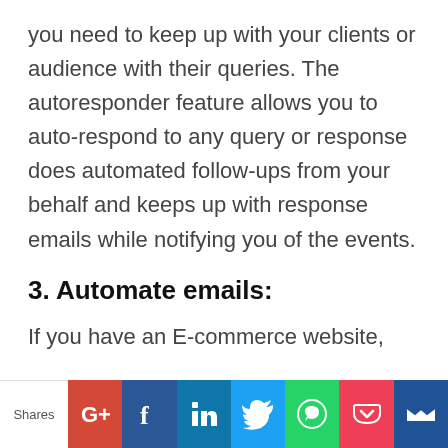you need to keep up with your clients or audience with their queries. The autoresponder feature allows you to auto-respond to any query or response does automated follow-ups from your behalf and keeps up with response emails while notifying you of the events.
3. Automate emails:
If you have an E-commerce website,
Shares | G+ | f | in | Twitter | WhatsApp | Pocket | Email